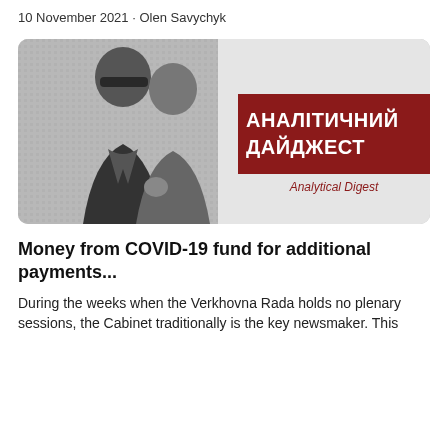10 November 2021 · Olen Savychyk
[Figure (illustration): Grayscale photo of two men in suits, overlaid with a dark red badge reading 'АНАЛІТИЧНИЙ ДАЙДЖЕСТ' (Analytical Digest) on the right side of the image.]
Money from COVID-19 fund for additional payments...
During the weeks when the Verkhovna Rada holds no plenary sessions, the Cabinet traditionally is the key newsmaker. This